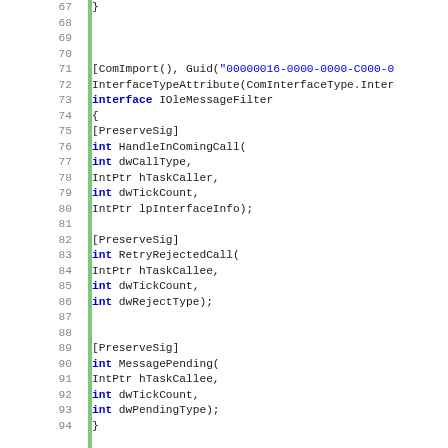[Figure (screenshot): Source code snippet in C# showing interface IOleMessageFilter definition with ComImport, Guid, and InterfaceTypeAttribute attributes, and three methods: HandleInComingCall, RetryRejectedCall, and MessagePending. Line numbers 67-94 are visible on the left.]